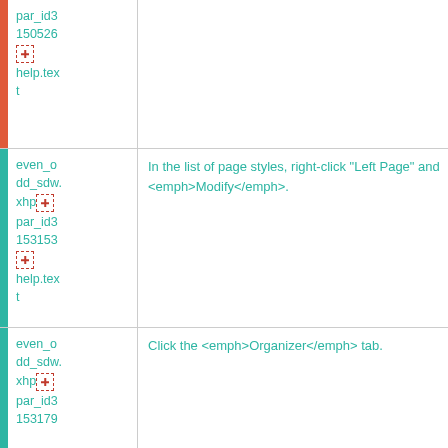| par_id3
150526
[icon]
help.text |  |
| even_o
dd_sdw.
xhp[icon]
par_id3
153153
[icon]
help.text | In the list of page styles, right-click "Left Page" and
<emph>Modify</emph>. |
| even_o
dd_sdw.
xhp[icon]
par_id3
153179 | Click the <emph>Organizer</emph> tab. |